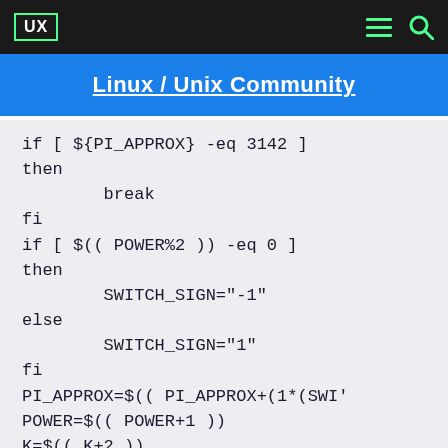UX  Linux / Unix Community
Linux / Unix Community
if [ ${PI_APPROX} -eq 3142 ]
then
        break
fi
if [ $(( POWER%2 )) -eq 0 ]
then
        SWITCH_SIGN="-1"
else
        SWITCH_SIGN="1"
fi
PI_APPROX=$(( PI_APPROX+(1*(SWI'
POWER=$(( POWER+1 ))
K=$(( K+2 ))
LOOP=$(( LOOP+1 ))